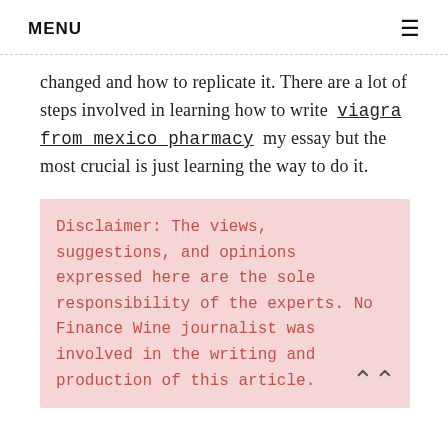MENU ≡
changed and how to replicate it. There are a lot of steps involved in learning how to write viagra from mexico pharmacy my essay but the most crucial is just learning the way to do it.
Disclaimer: The views, suggestions, and opinions expressed here are the sole responsibility of the experts. No Finance Wine journalist was involved in the writing and production of this article.